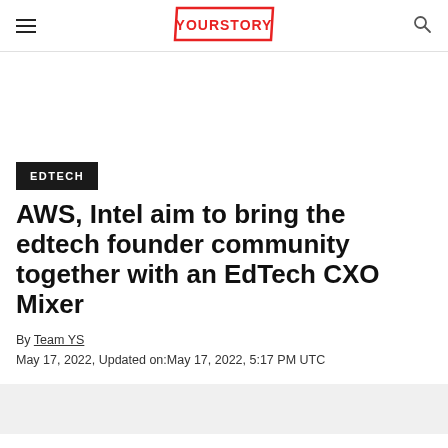YOURSTORY
EDTECH
AWS, Intel aim to bring the edtech founder community together with an EdTech CXO Mixer
By Team YS
May 17, 2022, Updated on:May 17, 2022, 5:17 PM UTC